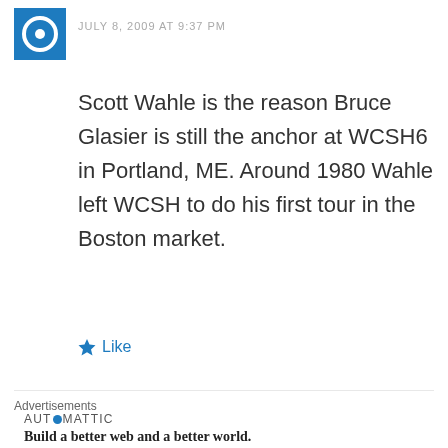[Figure (logo): Blue square avatar icon with white circular design]
JULY 8, 2009 AT 9:37 PM
Scott Wahle is the reason Bruce Glasier is still the anchor at WCSH6 in Portland, ME. Around 1980 Wahle left WCSH to do his first tour in the Boston market.
Like
Advertisements
[Figure (logo): Automattic logo with tagline: Build a better web and a better world.]
Advertisements